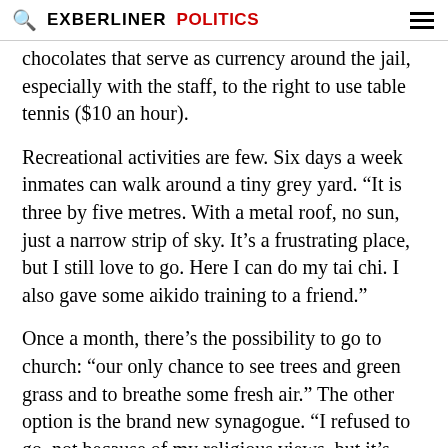EXBERLINER POLITICS
chocolates that serve as currency around the jail, especially with the staff, to the right to use table tennis ($10 an hour).
Recreational activities are few. Six days a week inmates can walk around a tiny grey yard. “It is three by five metres. With a metal roof, no sun, just a narrow strip of sky. It’s a frustrating place, but I still love to go. Here I can do my tai chi. I also gave some aikido training to a friend.”
Once a month, there’s the possibility to go to church: “our only chance to see trees and green grass and to breathe some fresh air.” The other option is the brand new synagogue. “I refused to go, not because of my religious views, but it’s unfortunately indoors; poor Jews couldn’t this is one of her…